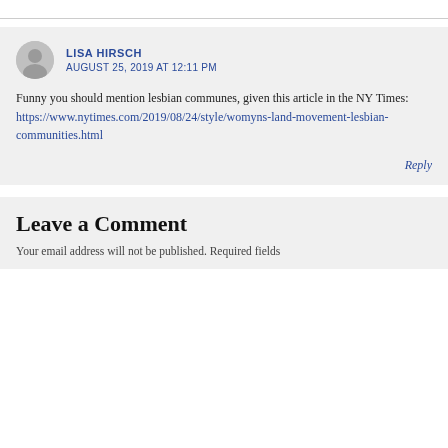LISA HIRSCH
AUGUST 25, 2019 AT 12:11 PM
Funny you should mention lesbian communes, given this article in the NY Times: https://www.nytimes.com/2019/08/24/style/womyns-land-movement-lesbian-communities.html
Reply
Leave a Comment
Your email address will not be published. Required fields